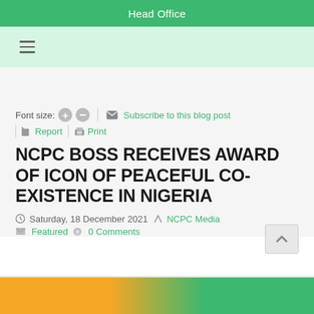Head Office
Font size: + −  |  ✉ Subscribe to this blog post  |  ⚑ Report  |  🖨 Print
NCPC BOSS RECEIVES AWARD OF ICON OF PEACEFUL CO-EXISTENCE IN NIGERIA
Saturday, 18 December 2021   NCPC Media   Featured   0 Comments
[Figure (photo): Bottom edge of a photo showing colorful clothing (yellow/green) suggesting people at an event, partially visible at bottom of page.]